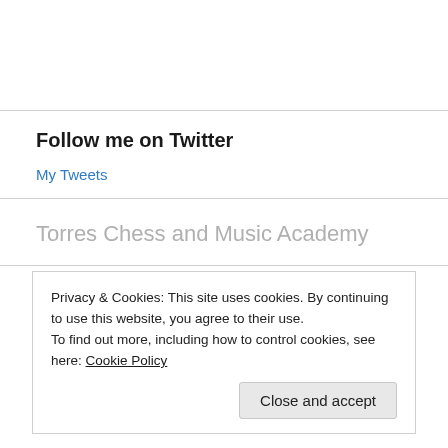Follow me on Twitter
My Tweets
Torres Chess and Music Academy
Privacy & Cookies: This site uses cookies. By continuing to use this website, you agree to their use.
To find out more, including how to control cookies, see here: Cookie Policy
Close and accept